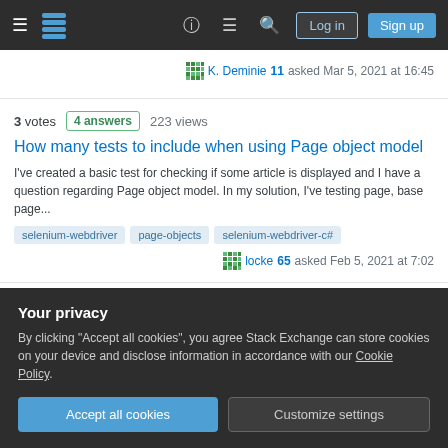Stack Exchange navigation bar with Log in and Sign up buttons
K. Deminie 11 asked Mar 5, 2021 at 16:45
3 votes  4 answers  223 views
How many tests to include when using Page object model
I've created a basic test for checking if some article is displayed and I have a question regarding Page object model. In my solution, I've testing page, base page...
selenium-webdriver
page-objects
selenium-webdriver-c#
locke 65 asked Feb 5, 2021 at 7:02
3 votes  6 answers  141 views
Your privacy
By clicking "Accept all cookies", you agree Stack Exchange can store cookies on your device and disclose information in accordance with our Cookie Policy.
Accept all cookies
Customize settings